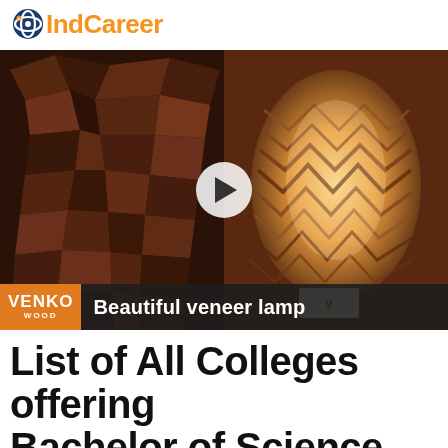eIndCareer
[Figure (screenshot): Video thumbnail showing a split image: left side shows a mosaic of dark wood pieces on a wall, right side shows a glowing veneer lamp with zigzag pattern. A white circular play button is overlaid in the center. A lower bar shows the VENKO WOOD logo and text 'Beautiful veneer lamp'.]
List of All Colleges offering Bachelor of Science